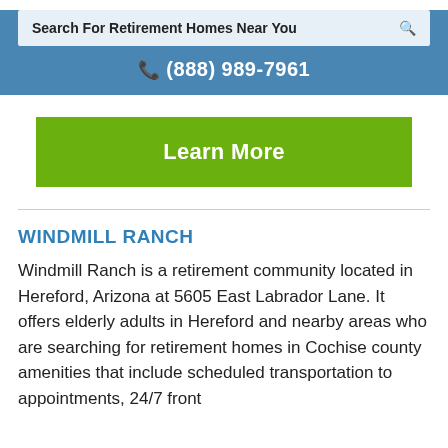Search For Retirement Homes Near You
(888) 989-7961
Learn More
WINDMILL RANCH
Windmill Ranch is a retirement community located in Hereford, Arizona at 5605 East Labrador Lane. It offers elderly adults in Hereford and nearby areas who are searching for retirement homes in Cochise county amenities that include scheduled transportation to appointments, 24/7 front